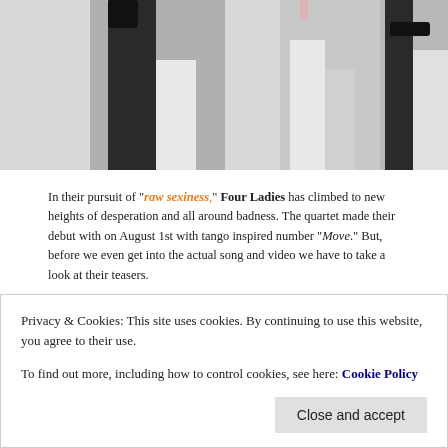[Figure (photo): Black and white photo of three women's lower bodies in lingerie/stockings]
In their pursuit of "raw sexiness," Four Ladies has climbed to new heights of desperation and all around badness. The quartet made their debut with on August 1st with tango inspired number "Move." But, before we even get into the actual song and video we have to take a look at their teasers.
[Figure (photo): A person's hand on fabric, tango/dance themed teaser image]
Privacy & Cookies: This site uses cookies. By continuing to use this website, you agree to their use.
To find out more, including how to control cookies, see here: Cookie Policy